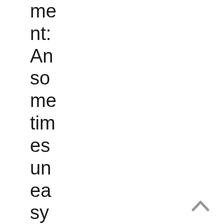me
nt:
An
so
me
tim
es
un
ea
sy
mi
xtu
re
ofh
um
an
[Figure (other): A gray upward-pointing chevron arrow icon in the bottom-right corner, used as a scroll-to-top button.]